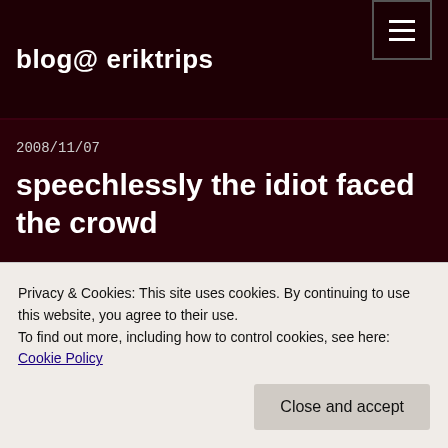blog@ eriktrips
2008/11/07
speechlessly the idiot faced the crowd
Tonight I felt like saying things in a slightly different way, but it turns out that I have paying work to do and so all I have to offer is this unfinished
Privacy & Cookies: This site uses cookies. By continuing to use this website, you agree to their use.
To find out more, including how to control cookies, see here: Cookie Policy
Close and accept